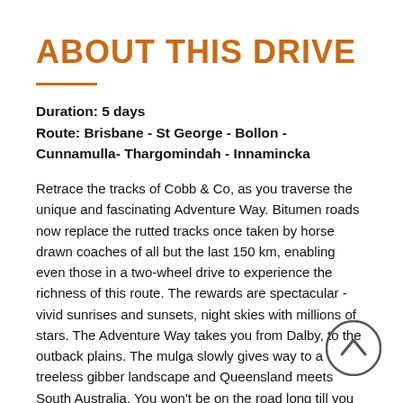ABOUT THIS DRIVE
Duration: 5 days
Route: Brisbane - St George - Bollon - Cunnamulla- Thargomindah - Innamincka
Retrace the tracks of Cobb & Co, as you traverse the unique and fascinating Adventure Way. Bitumen roads now replace the rutted tracks once taken by horse drawn coaches of all but the last 150 km, enabling even those in a two-wheel drive to experience the richness of this route. The rewards are spectacular - vivid sunrises and sunsets, night skies with millions of stars. The Adventure Way takes you from Dalby, to the outback plains. The mulga slowly gives way to a treeless gibber landscape and Queensland meets South Australia. You won't be on the road long till you understand why they call it the Adventure Way! From gut wrenching stories of spirit and tragedy, Queensland's outback has become famous and evolved into a must see destination. However, don't think